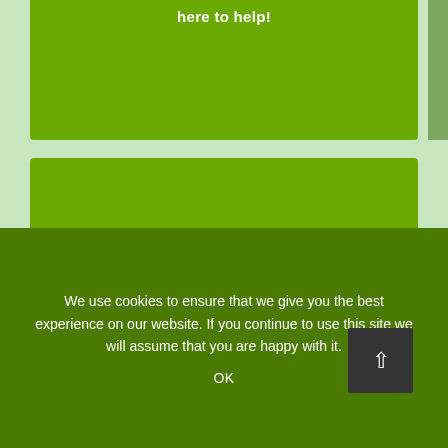[Figure (screenshot): Top green banner/card section with white text 'here to help!' visible at top. Green background with slight rounded bottom corners.]
[Figure (screenshot): Second green card section showing a life preserver ring (red and white/cream colored) at bottom center, with a red horizontal bar behind it on the right side.]
We use cookies to ensure that we give you the best experience on our website. If you continue to use this site we will assume that you are happy with it.
OK